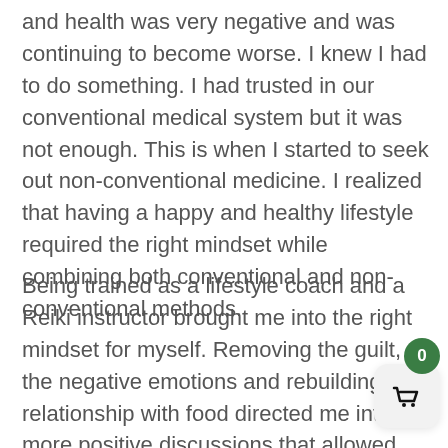and health was very negative and was continuing to become worse. I knew I had to do something. I had trusted in our conventional medical system but it was not enough. This is when I started to seek out non-conventional medicine. I realized that having a happy and healthy lifestyle required the right mindset while combining both conventional and non-conventional methods.
Being trained as a lifestyle coach and a Reiki instructor brought me into the right mindset for myself. Removing the guilt, the negative emotions and rebuilding my relationship with food directed me into more positive discussions that allowed me share feelings resulting in a shift in the right direction toward my goals.